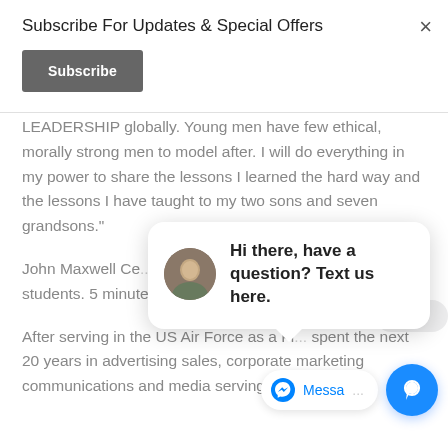Subscribe For Updates & Special Offers
Subscribe
LEADERSHIP globally. Young men have few ethical, morally strong men to model after. I will do everything in my power to share the lessons I learned the hard way and the lessons I have taught to my two sons and seven grandsons."
John Maxwell Ce... applies life and m... lessons from go... students. 5 minute lessons - 5 days a week.
After serving in the US Air Force as a Fi... spent the next 20 years in advertising sales, corporate marketing communications and media serving, political
[Figure (screenshot): Chat popup with avatar photo and message: Hi there, have a question? Text us here.]
[Figure (screenshot): Facebook Messenger bar at bottom with blue icon and 'Messa...' text, and a blue chat FAB button]